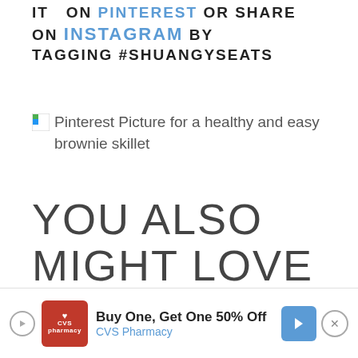IT ON PINTEREST OR SHARE ON INSTAGRAM BY TAGGING #SHUANGYSEATS
[Figure (photo): Pinterest Picture for a healthy and easy brownie skillet (broken image placeholder with alt text)]
YOU ALSO MIGHT LOVE THESE HEALTHY CHOCOLATE DESSERT RECIPES:
1.
[Figure (infographic): CVS Pharmacy advertisement banner: Buy One, Get One 50% Off CVS Pharmacy]